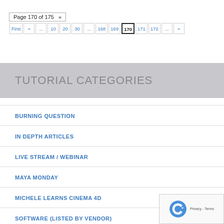Page 170 of 175  «  First  «  ...  10  20  30  ...  168  169  170  171  172  ...  »
TUTORIAL CATEGORIES
BURNING QUESTION
IN DEPTH ARTICLES
LIVE STREAM / WEBINAR
MAYA MONDAY
MICHELE LEARNS CINEMA 4D
SOFTWARE (LISTED BY VENDOR)